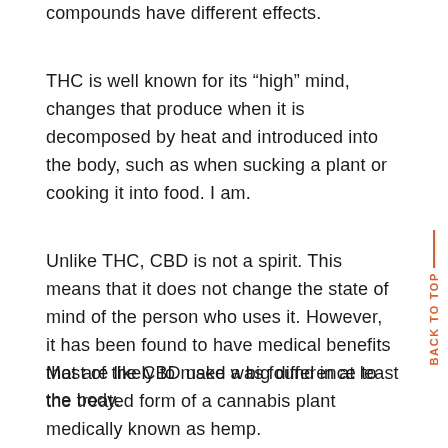compounds have different effects.
THC is well known for its “high” mind, changes that produce when it is decomposed by heat and introduced into the body, such as when sucking a plant or cooking it into food. I am.
Unlike THC, CBD is not a spirit. This means that it does not change the state of mind of the person who uses it. However, it has been found to have medical benefits that are likely to make a big difference to the body.
Most of the CBD used was found in at least the treated form of a cannabis plant medically known as hemp.